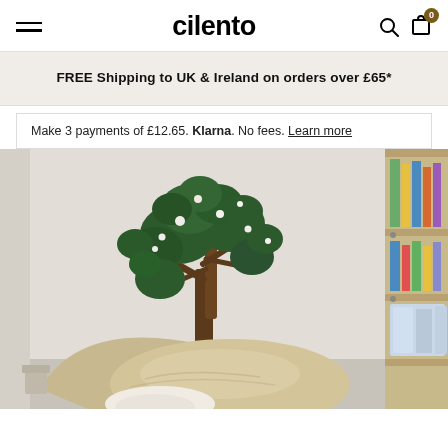cilento
FREE Shipping to UK & Ireland on orders over £65*
Make 3 payments of £12.65. Klarna. No fees. Learn more
[Figure (photo): A retail store interior showing cushions in the foreground, a large leafy green plant in the background, and shelving with colorful items on the right side.]